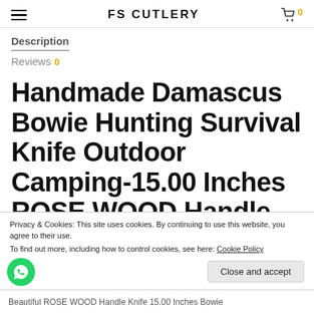FS CUTLERY
Description
Reviews 0
Handmade Damascus Bowie Hunting Survival Knife Outdoor Camping-15.00 Inches ROSE WOOD Handle Beautiful Ladder
Privacy & Cookies: This site uses cookies. By continuing to use this website, you agree to their use.
To find out more, including how to control cookies, see here: Cookie Policy
Close and accept
Beautiful ROSE WOOD Handle Knife 15.00 Inches Bowie